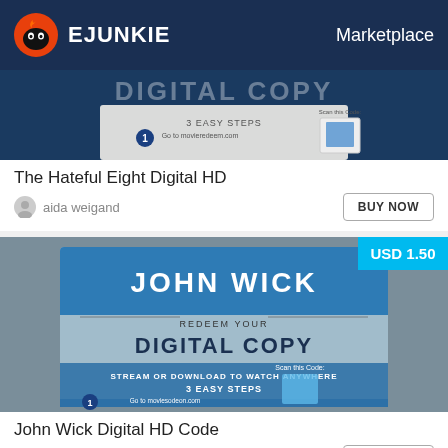EJUNKIE   Marketplace
[Figure (photo): Photo of a digital copy card for The Hateful Eight movie, partially visible with 'DIGITAL COPY' text and '3 EASY STEPS' instructions. Background is dark blue.]
The Hateful Eight Digital HD
aida weigand
[Figure (photo): Photo of John Wick digital HD code card showing 'JOHN WICK REDEEM YOUR DIGITAL COPY STREAM OR DOWNLOAD TO WATCH ANYWHERE 3 EASY STEPS Go to moviesodeon.com Scan this Code'. Price badge shows USD 1.50.]
John Wick Digital HD Code
aida weigand
[Figure (photo): Partially visible third listing with price badge USD 3.50, dark blue/grey background.]